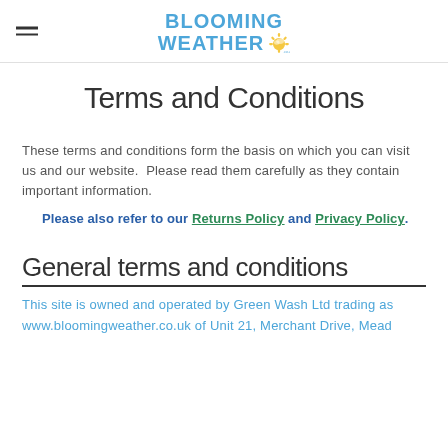BLOOMING WEATHER (logo with sun icon)
Terms and Conditions
These terms and conditions form the basis on which you can visit us and our website.  Please read them carefully as they contain important information.
Please also refer to our Returns Policy and Privacy Policy.
General terms and conditions
This site is owned and operated by Green Wash Ltd trading as www.bloomingweather.co.uk of Unit 21, Merchant Drive, Mead